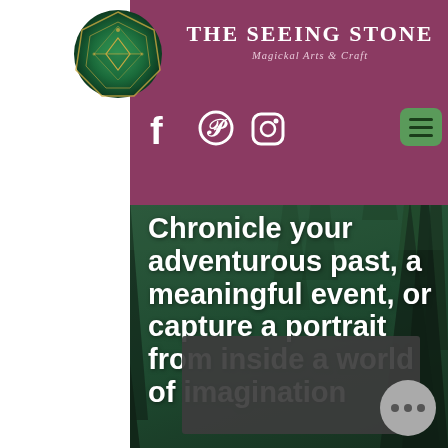[Figure (screenshot): Website header and landing page for 'The Seeing Stone - Magickal Arts & Craft'. Header has mauve/purple background with gem logo, brand name, social icons (Facebook, Pinterest, Instagram), and green menu button. Below is a dark forest background with large white bold text reading 'Chronicle your adventurous past, a meaningful event, or capture a portrait from inside a world of imagination'. A dark rectangular content area and a grey circular button with three dots are visible at the bottom.]